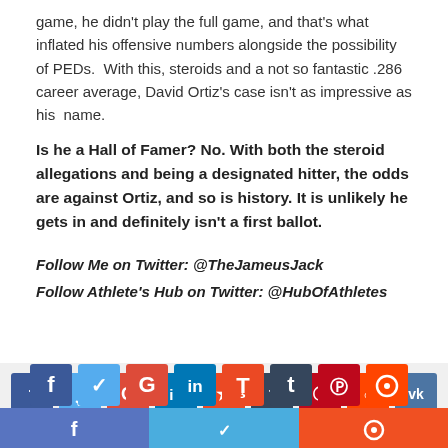game, he didn't play the full game, and that's what inflated his offensive numbers alongside the possibility of PEDs.  With this, steroids and a not so fantastic .286 career average, David Ortiz's case isn't as impressive as his  name.
Is he a Hall of Famer? No. With both the steroid allegations and being a designated hitter, the odds are against Ortiz, and so is history. It is unlikely he gets in and definitely isn't a first ballot.
Follow Me on Twitter: @TheJameusJack
Follow Athlete's Hub on Twitter: @HubOfAthletes
[Figure (infographic): Social media sharing buttons: Facebook (blue), Twitter (light blue), Google+ (red), LinkedIn (blue), StumbleUpon (orange-red), Tumblr (dark navy), Pinterest (dark red), Reddit (orange-red), VK (steel blue). Below: larger Facebook, Twitter, Reddit share buttons.]